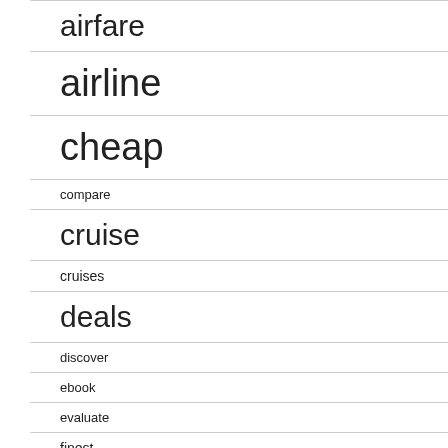airfare
airline
cheap
compare
cruise
cruises
deals
discover
ebook
evaluate
finest
flight
flights